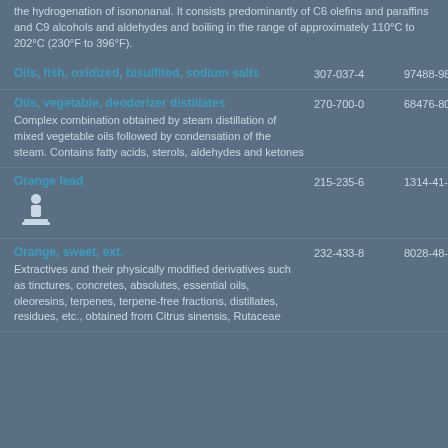the hydrogenation of isononanal. It consists predominantly of C6 olefins and paraffins and C9 alcohols and aldehydes and boiling in the range of approximately 110°C to 202°C (230°F to 396°F).
| Substance Name | EC Number | CAS Number |
| --- | --- | --- |
| Oils, fish, oxidized, bisulfited, sodium salts | 307-037-4 | 97488-98-7 |
| Oils, vegetable, deodorizer distillates
Complex combination obtained by steam distillation of mixed vegetable oils followed by condensation of the steam. Contains fatty acids, sterols, aldehydes and ketones | 270-700-0 | 68476-80-2 |
| Orange lead
[icon] | 215-235-6 | 1314-41-6 |
| Orange, sweet, ext.
Extractives and their physically modified derivatives such as tinctures, concretes, absolutes, essential oils, oleoresins, terpenes, terpene-free fractions, distillates, residues, etc., obtained from Citrus sinensis, Rutaceae | 232-433-8 | 8028-48-6 |